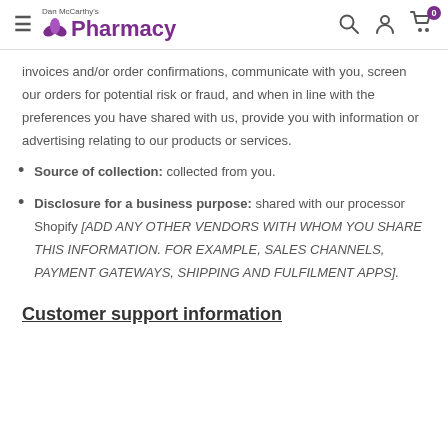Dan McCarthy's Pharmacy — navigation bar with hamburger menu, logo, search, account, and cart icons
invoices and/or order confirmations, communicate with you, screen our orders for potential risk or fraud, and when in line with the preferences you have shared with us, provide you with information or advertising relating to our products or services.
Source of collection: collected from you.
Disclosure for a business purpose: shared with our processor Shopify [ADD ANY OTHER VENDORS WITH WHOM YOU SHARE THIS INFORMATION. FOR EXAMPLE, SALES CHANNELS, PAYMENT GATEWAYS, SHIPPING AND FULFILMENT APPS].
Customer support information